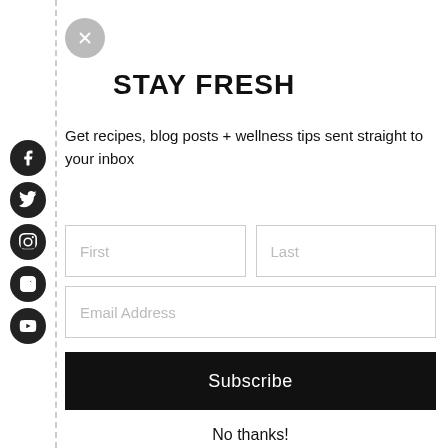STAY FRESH
Get recipes, blog posts + wellness tips sent straight to your inbox
[Figure (infographic): Email subscription form with First, Last, Email Address input fields, a Subscribe button, and a No thanks link]
No thanks!